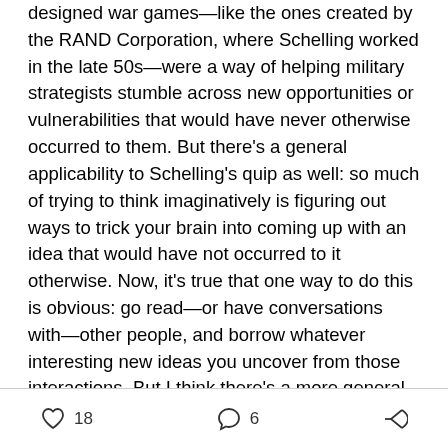designed war games—like the ones created by the RAND Corporation, where Schelling worked in the late 50s—were a way of helping military strategists stumble across new opportunities or vulnerabilities that would have never otherwise occurred to them. But there's a general applicability to Schelling's quip as well: so much of trying to think imaginatively is figuring out ways to trick your brain into coming up with an idea that would have not occurred to it otherwise. Now, it's true that one way to do this is obvious: go read—or have conversations with—other people, and borrow whatever interesting new ideas you uncover from those interactions. But I think there's a more general problem here, one that requires more devious methods to get
18  6  share